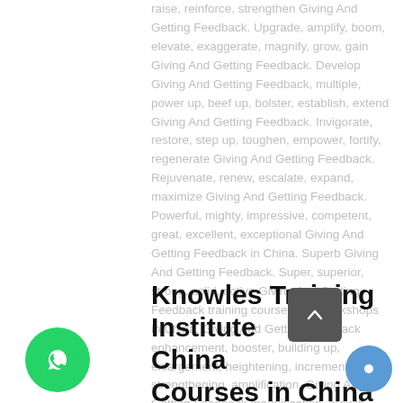raise, reinforce, strengthen Giving And Getting Feedback. Upgrade, amplify, boom, elevate, exaggerate, magnify, grow, gain Giving And Getting Feedback. Develop Giving And Getting Feedback, multiple, power up, beef up, bolster, establish, extend Giving And Getting Feedback. Invigorate, restore, step up, toughen, empower, fortify, regenerate Giving And Getting Feedback. Rejuvenate, renew, escalate, expand, maximize Giving And Getting Feedback. Powerful, mighty, impressive, competent, great, excellent, exceptional Giving And Getting Feedback in China. Superb Giving And Getting Feedback. Super, superior, strong, solid, active Giving And Getting Feedback training courses and workshops in China. Giving And Getting Feedback enhancement, booster, building up, enlargement, heightening, increment, strengthening, amplification. Giving And Getting Feedback magnification, growth, development, power, empowerment, regeneration. Giving And Getting Feedback rejuvenation, development, escalation, expansion. Giving And Getting Feedback maximization, power training courses & workshops in China.
Knowles Training Institute China Courses in China